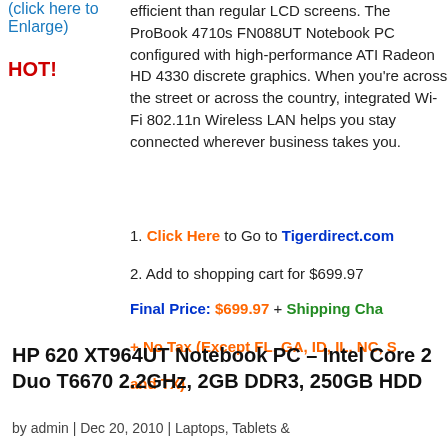(click here to Enlarge)
HOT!
efficient than regular LCD screens. The ProBook 4710s FN088UT Notebook PC configured with high-performance ATI Radeon HD 4330 discrete graphics. Whether you're across the street or across the country, integrated Wi-Fi 802.11n Wireless LAN helps you stay connected wherever business takes you.
1. Click Here to Go to Tigerdirect.com
2. Add to shopping cart for $699.97
3. Final Price: $699.97 + Shipping Charges + No Tax (Except FL, GA, ID, IL, NC, SC and TX)
HP 620 XT964UT Notebook PC – Intel Core 2 Duo T6670 2.2GHz, 2GB DDR3, 250GB HDD
by admin | Dec 20, 2010 | Laptops, Tablets &